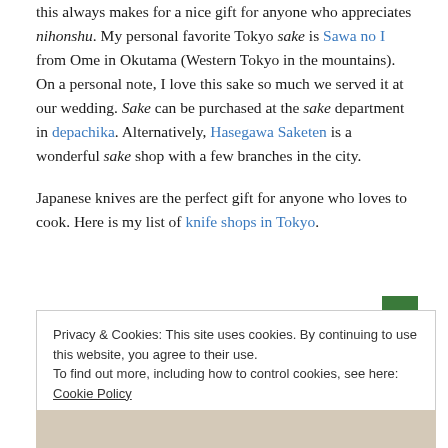this always makes for a nice gift for anyone who appreciates nihonshu. My personal favorite Tokyo sake is Sawa no I from Ome in Okutama (Western Tokyo in the mountains). On a personal note, I love this sake so much we served it at our wedding. Sake can be purchased at the sake department in depachika. Alternatively, Hasegawa Saketen is a wonderful sake shop with a few branches in the city.
Japanese knives are the perfect gift for anyone who loves to cook. Here is my list of knife shops in Tokyo.
Privacy & Cookies: This site uses cookies. By continuing to use this website, you agree to their use. To find out more, including how to control cookies, see here: Cookie Policy